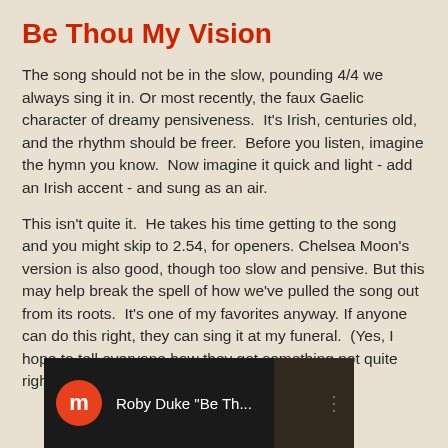Be Thou My Vision
The song should not be in the slow, pounding 4/4 we always sing it in. Or most recently, the faux Gaelic character of dreamy pensiveness.  It's Irish, centuries old, and the rhythm should be freer.  Before you listen, imagine the hymn you know.  Now imagine it quick and light - add an Irish accent - and sung as an air.
This isn't quite it.  He takes his time getting to the song and you might skip to 2.54, for openers. Chelsea Moon's version is also good, though too slow and pensive. But this may help break the spell of how we've pulled the song out from its roots.  It's one of my favorites anyway. If anyone can do this right, they can sing it at my funeral.  (Yes, I hope to tell everyone how they got something not quite right one more time.)
[Figure (screenshot): Video thumbnail showing a dark scene with a circular orange/red icon with the letter 'm' and text 'Roby Duke "Be Th...' with a three-dot menu icon]